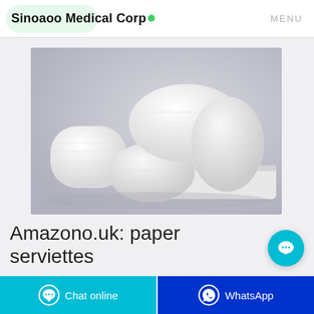Sinoaoo Medical Corp  MENU
[Figure (photo): Photo of white folded paper serviettes/hand towels stacked together on a light gray background]
Amazono.uk: paper serviettes